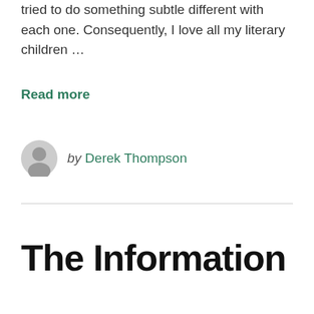tried to do something subtle different with each one. Consequently, I love all my literary children …
Read more
by Derek Thompson
The Information